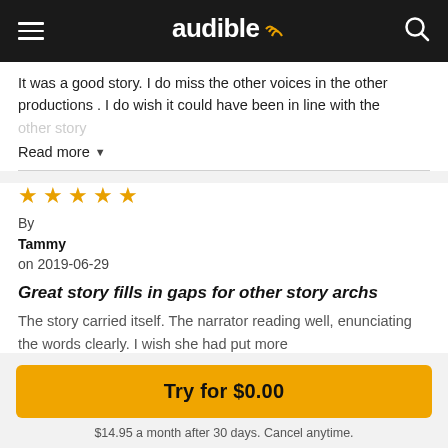audible
It was a good story. I do miss the other voices in the other productions . I do wish it could have been in line with the other story
Read more
★★★★★
By
Tammy
on 2019-06-29
Great story fills in gaps for other story archs
The story carried itself. The narrator reading well, enunciating the words clearly. I wish she had put more
Try for $0.00
$14.95 a month after 30 days. Cancel anytime.